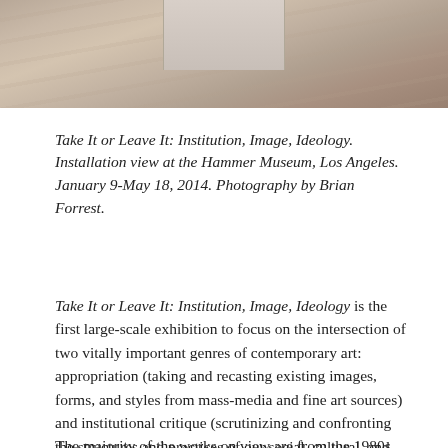[Figure (photo): Installation view photograph showing a wooden floor interior of the Hammer Museum. A large panel or artwork leans against or is mounted near the wall in the background.]
Take It or Leave It: Institution, Image, Ideology. Installation view at the Hammer Museum, Los Angeles. January 9-May 18, 2014. Photography by Brian Forrest.
Take It or Leave It: Institution, Image, Ideology is the first large-scale exhibition to focus on the intersection of two vitally important genres of contemporary art: appropriation (taking and recasting existing images, forms, and styles from mass-media and fine art sources) and institutional critique (scrutinizing and confronting the structures and practices of our social, cultural, and political institutions). The exhibition brings together works by thirty-six American artists who came to prominence between the late 1970s and the early 1990s.
The majority of the works on view are from the 1980s and